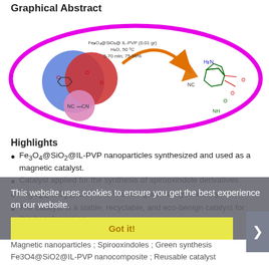Graphical Abstract
[Figure (illustration): Graphical abstract showing a chemical reaction scheme inside a magenta oval: reactants (blue and red molecular spheres representing carbonyl compound, isatin, and malononitrile) plus reaction conditions (Fe3O4@SiO2@IL-PVP 0.01 gr, H2O, 50°C, 5-70 min, 75-96%) with an orange arrow pointing to spirooxindole product structure.]
Highlights
Fe3O4@SiO2@IL-PVP nanoparticles synthesized and used as a magnetic catalyst.
Catalyst applied for the synthesis of spirooxindole derivatives.
Fe3O4@SiO2@IL-PVP NPs show good catalytic activity.
The catalyst is a stable, recyclable, and eco-benign catalyst for this transformation.
Keywords
Magnetic nanoparticles ;   Spirooxindoles ;   Green synthesis ;   Fe3O4@SiO2@IL-PVP nanocomposite ;   Reusable catalyst